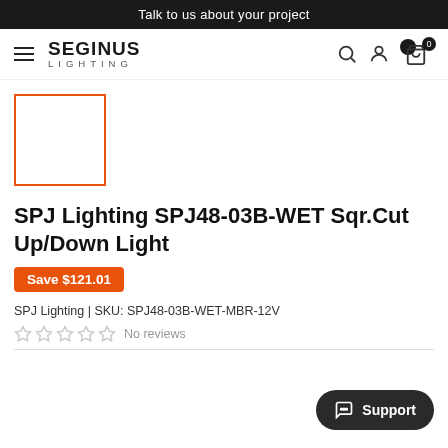Talk to us about your project
[Figure (logo): Seginus Lighting logo with hamburger menu, search, user, and cart icons]
[Figure (photo): Product thumbnail placeholder with orange border]
SPJ Lighting SPJ48-03B-WET Sqr.Cut Up/Down Light
Save $121.01
SPJ Lighting | SKU: SPJ48-03B-WET-MBR-12V
No reviews